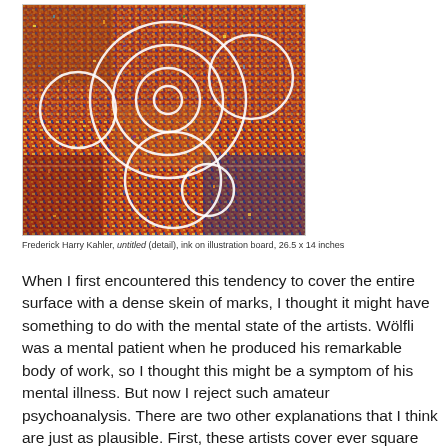[Figure (illustration): Detail of Frederick Harry Kahler's untitled artwork — a dense, colorful ink drawing on illustration board with white circles overlaid on a heavily worked surface filled with small marks in reds, yellows, blues, and other colors.]
Frederick Harry Kahler, untitled (detail), ink on illustration board, 26.5 x 14 inches
When I first encountered this tendency to cover the entire surface with a dense skein of marks, I thought it might have something to do with the mental state of the artists. Wölfli was a mental patient when he produced his remarkable body of work, so I thought this might be a symptom of his mental illness. But now I reject such amateur psychoanalysis. There are two other explanations that I think are just as plausible. First, these artists cover ever square centimeter because to